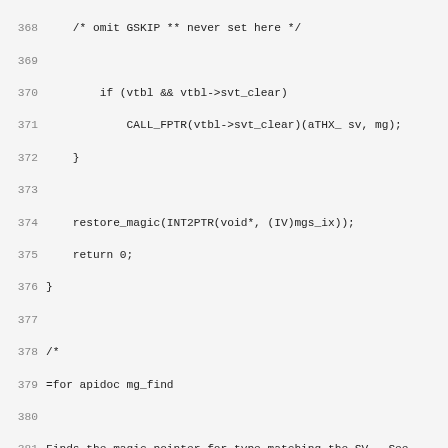[Figure (other): Source code listing in C/Perl with line numbers 368-400, showing mg_find function implementation]